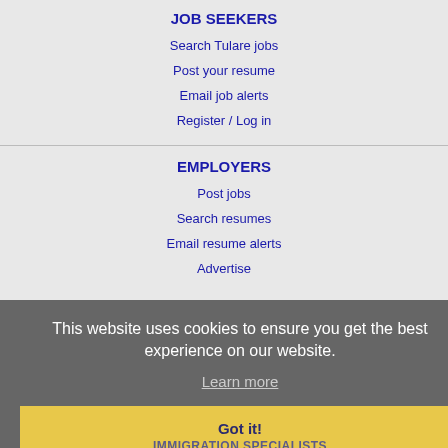JOB SEEKERS
Search Tulare jobs
Post your resume
Email job alerts
Register / Log in
EMPLOYERS
Post jobs
Search resumes
Email resume alerts
Advertise
This website uses cookies to ensure you get the best experience on our website.
Learn more
Got it!
IMMIGRATION SPECIALISTS
Post jobs
Immigration FAQs